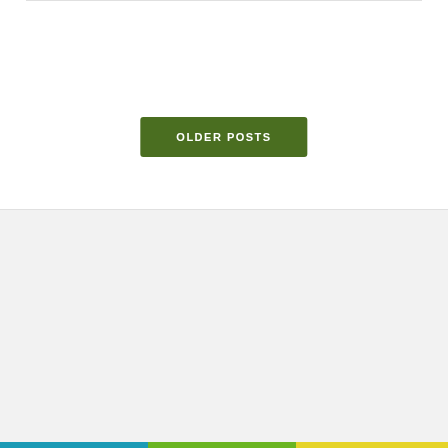[Figure (other): Green 'OLDER POSTS' button in white section]
Search …
Privacy & Cookies: This site uses cookies. By continuing to use this website, you agree to their use.
To find out more, including how to control cookies, see here: Cookie Policy
Close and accept